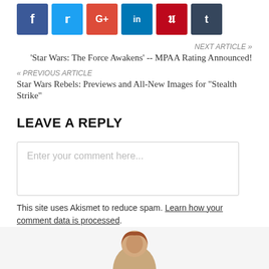[Figure (other): Social media share buttons: Facebook (blue), Twitter (light blue), Google+ (red), LinkedIn (dark blue), Pinterest (red), Tumblr (dark slate)]
NEXT ARTICLE »
'Star Wars: The Force Awakens' -- MPAA Rating Announced!
« PREVIOUS ARTICLE
Star Wars Rebels: Previews and All-New Images for "Stealth Strike"
LEAVE A REPLY
Enter your comment here...
This site uses Akismet to reduce spam. Learn how your comment data is processed.
[Figure (photo): Author avatar photo at the bottom of the page]